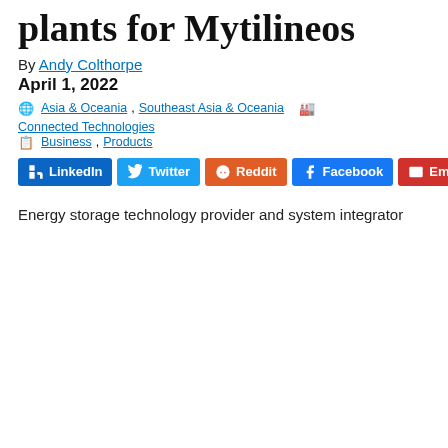plants for Mytilineos
By Andy Colthorpe
April 1, 2022
Asia & Oceania, Southeast Asia & Oceania  Connected Technologies
Business, Products
LinkedIn  Twitter  Reddit  Facebook  Email
[Figure (photo): Aerial photo of Mytilineos large-scale solar plant in Chile's Atacama Desert region, showing vast arrays of solar panels in a desert landscape.]
Mytilineos large-scale solar plant in Chile's Atacama Desert region. Image: Mytilineos.
Energy storage technology provider and system integrator